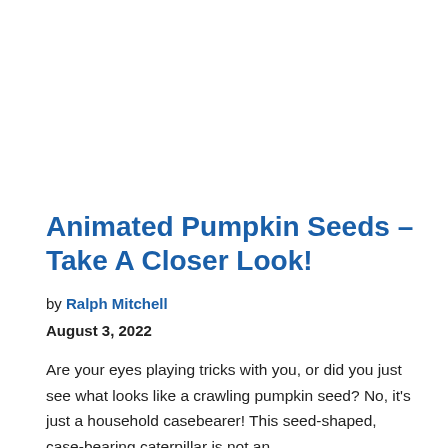Animated Pumpkin Seeds – Take A Closer Look!
by Ralph Mitchell
August 3, 2022
Are your eyes playing tricks with you, or did you just see what looks like a crawling pumpkin seed? No, it's just a household casebearer! This seed-shaped, case-bearing caterpillar is not an